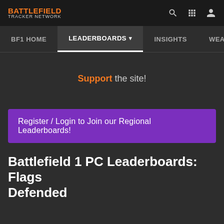BATTLEFIELD TRACKER NETWORK
BF1 HOME | LEADERBOARDS | INSIGHTS | WEAPO
Support the site!
Register / Login to Join our Regional Leaderboards!
Battlefield 1 PC Leaderboards: Flags Defended